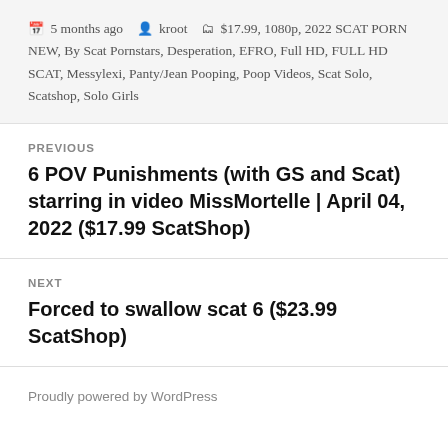📅 5 months ago  👤 kroot  🗂 $17.99, 1080p, 2022 SCAT PORN NEW, By Scat Pornstars, Desperation, EFRO, Full HD, FULL HD SCAT, Messylexi, Panty/Jean Pooping, Poop Videos, Scat Solo, Scatshop, Solo Girls
PREVIOUS
6 POV Punishments (with GS and Scat) starring in video MissMortelle | April 04, 2022 ($17.99 ScatShop)
NEXT
Forced to swallow scat 6 ($23.99 ScatShop)
Proudly powered by WordPress